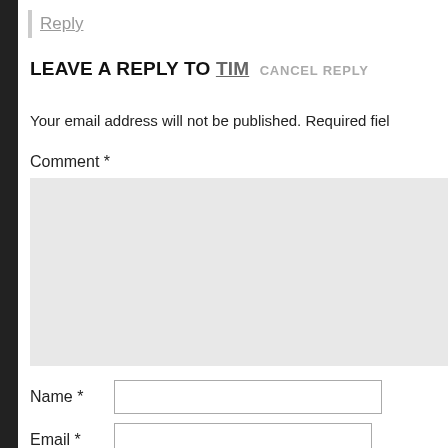Reply
LEAVE A REPLY TO TIM CANCEL REPLY
Your email address will not be published. Required fiel
Comment *
Name *
Email *